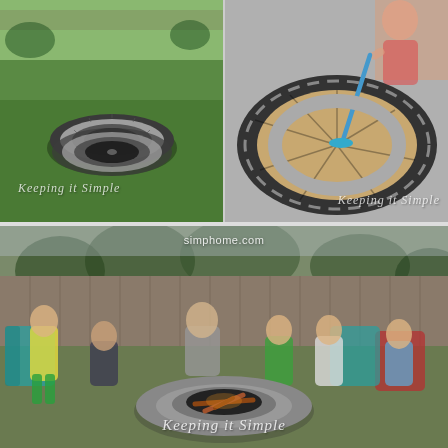[Figure (photo): Top-left photo showing a completed circular stone fire pit ring sitting on green grass in a backyard. The fire pit is made of grey concrete blocks arranged in a circular pattern. Watermark reads 'Keeping it Simple'.]
[Figure (photo): Top-right photo showing a close-up of a person (child or teen) using a teal/blue broom to sweep sand inside a dark-painted circular fire pit ring made of alternating dark and light concrete blocks. Watermark reads 'Keeping it Simple'.]
[Figure (photo): Large bottom photo showing a family gathering around a completed grey stone fire pit in a backyard. Several children and an adult are seated and standing around the fire pit which has wood inside ready to burn. Colorful chairs (teal, red) are arranged around it. A wooden privacy fence is visible in the background. Watermark reads 'Keeping it Simple'. A 'simphome.com' label appears at the top of this section.]